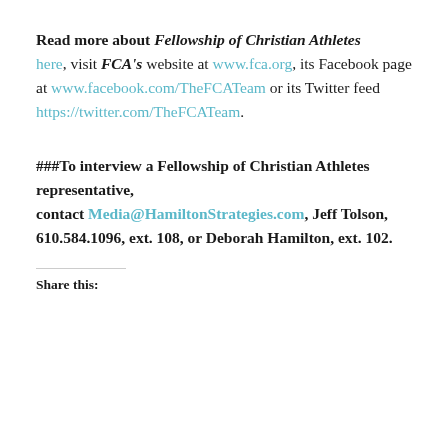Read more about Fellowship of Christian Athletes here, visit FCA's website at www.fca.org, its Facebook page at www.facebook.com/TheFCATeam or its Twitter feed https://twitter.com/TheFCATeam.
###To interview a Fellowship of Christian Athletes representative, contact Media@HamiltonStrategies.com, Jeff Tolson, 610.584.1096, ext. 108, or Deborah Hamilton, ext. 102.
Share this: